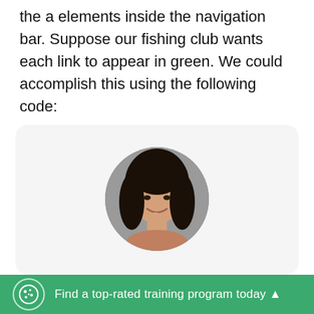the a elements inside the navigation bar. Suppose our fishing club wants each link to appear in green. We could accomplish this using the following code:
[Figure (photo): Circular cropped portrait photo of a young woman with long dark hair, smiling and resting her chin on her hand, against a grey background.]
"Career Karma entered my life when I needed it most and quickly helped me match with a bootcamp. Two
Find a top-rated training program today ▲